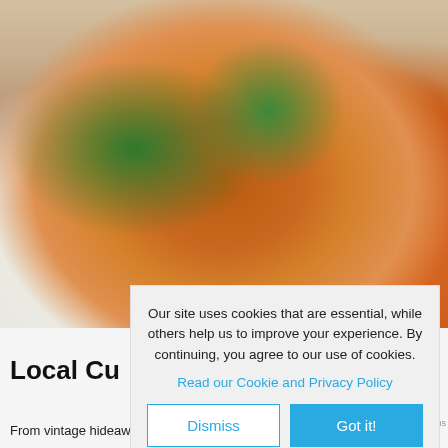[Figure (photo): A curry-filled bread bowl (bunny chow) topped with meat, fresh cilantro/coriander leaves, served with shredded carrots on a white plate. A dollop of cream visible at top right.]
Our site uses cookies that are essential, while others help us to improve your experience. By continuing, you agree to our use of cookies.
Read our Cookie and Privacy Policy
Dismiss
Got it!
Local Cu
From vintage hideaways to trendy sidewalk cafes, you'll be